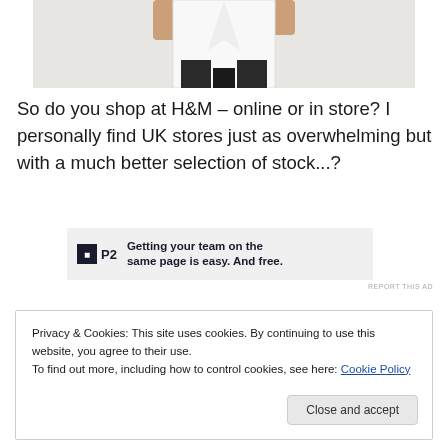[Figure (photo): Partial view of a model wearing a white coat/blazer over dark pants, cropped at torso level]
So do you shop at H&M – online or in store? I personally find UK stores just as overwhelming but with a much better selection of stock...?
[Figure (other): P2 advertisement banner: Getting your team on the same page is easy. And free.]
REPORT THIS AD
Privacy & Cookies: This site uses cookies. By continuing to use this website, you agree to their use.
To find out more, including how to control cookies, see here: Cookie Policy
Close and accept